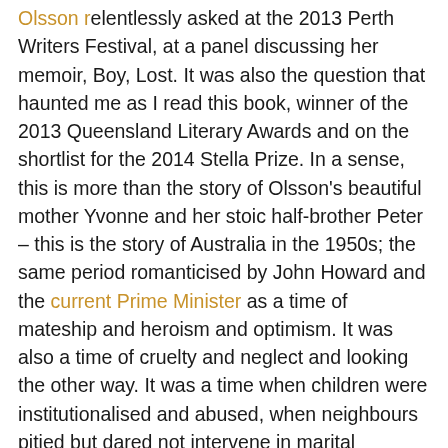Olsson relentlessly asked at the 2013 Perth Writers Festival, at a panel discussing her memoir, Boy, Lost. It was also the question that haunted me as I read this book, winner of the 2013 Queensland Literary Awards and on the shortlist for the 2014 Stella Prize. In a sense, this is more than the story of Olsson's beautiful mother Yvonne and her stoic half-brother Peter – this is the story of Australia in the 1950s; the same period romanticised by John Howard and the current Prime Minister as a time of mateship and heroism and optimism. It was also a time of cruelty and neglect and looking the other way. It was a time when children were institutionalised and abused, when neighbours pitied but dared not intervene in marital 'disputes,' when the real heroes were the women and children who survived despite attempts to annihilate them.
This story of Olsson's mother and her brutal first marriage, and the boy who was lost to her for forty years is beautifully written. The stark sentences gutted me